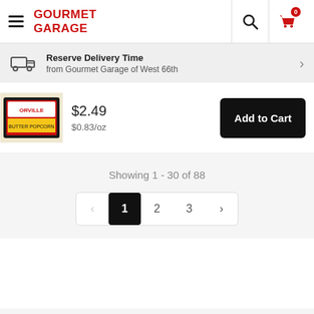GOURMET GARAGE
Reserve Delivery Time
from Gourmet Garage of West 66th
[Figure (photo): Product image of a packaged food item (popcorn/snack) with red and yellow packaging]
$2.49
$0.83/oz
Add to Cart
Showing 1 - 30 of 88
< 1 2 3 >